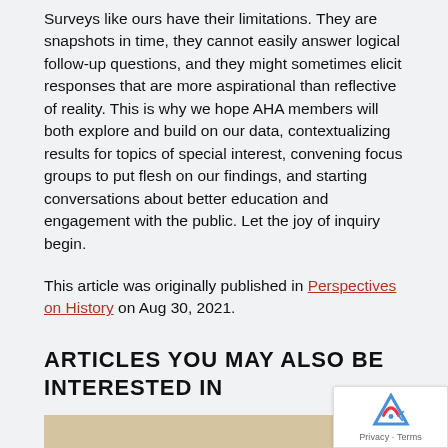Surveys like ours have their limitations. They are snapshots in time, they cannot easily answer logical follow-up questions, and they might sometimes elicit responses that are more aspirational than reflective of reality. This is why we hope AHA members will both explore and build on our data, contextualizing results for topics of special interest, convening focus groups to put flesh on our findings, and starting conversations about better education and engagement with the public. Let the joy of inquiry begin.
This article was originally published in Perspectives on History on Aug 30, 2021.
ARTICLES YOU MAY ALSO BE INTERESTED IN
[Figure (photo): Partial view of a beige/tan colored image strip at the bottom of the page, partially obscured]